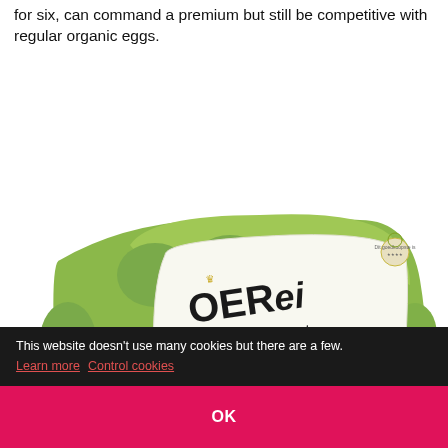for six, can command a premium but still be competitive with regular organic eggs.
[Figure (photo): Green egg carton branded 'OERei lekker en logisch' with illustration of a hen on grass, shown from two angles (top and front label), containing 6 eggs (6x).]
This website doesn't use many cookies but there are a few. Learn more  Control cookies
OK
Insect-fed eggs could be a great halfway house to